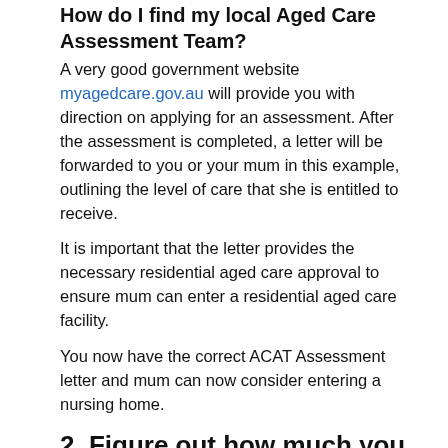How do I find my local Aged Care Assessment Team?
A very good government website myagedcare.gov.au will provide you with direction on applying for an assessment. After the assessment is completed, a letter will be forwarded to you or your mum in this example, outlining the level of care that she is entitled to receive.
It is important that the letter provides the necessary residential aged care approval to ensure mum can enter a residential aged care facility.
You now have the correct ACAT Assessment letter and mum can now consider entering a nursing home.
2. Figure out how much you need to pay